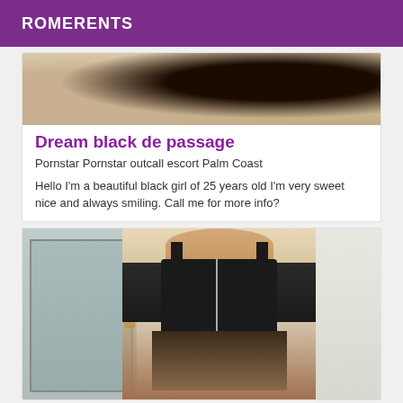ROMERENTS
[Figure (photo): Partial photo showing bedding/fabric, top portion of listing card]
Dream black de passage
Pornstar Pornstar outcall escort Palm Coast
Hello I'm a beautiful black girl of 25 years old I'm very sweet nice and always smiling. Call me for more info?
[Figure (photo): Woman in black leather corset and lace skirt standing in front of a door]